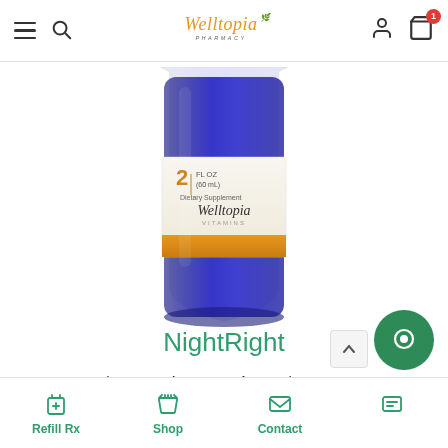Welltopia Pharmacy navigation bar with menu, search, logo, user account, and cart (1 item)
[Figure (photo): A blue glass bottle with a white label showing '2 FL OZ (60 mL)', 'Welltopia Vitamins', and 'Dietary Supplement', photographed from the front showing the bottom portion of the bottle]
NightRight
$20.70 / 2 months – $23.00
Refill Rx | Shop | Contact